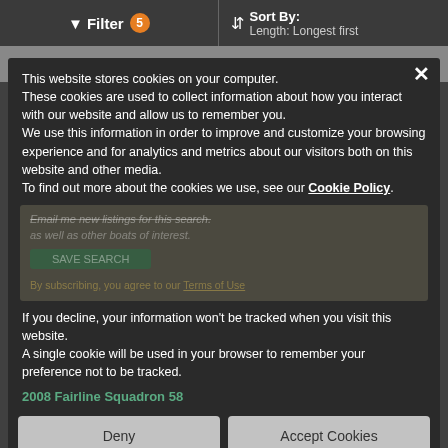Filter 5 | Sort By: Length: Longest first
Save Search
This website stores cookies on your computer. These cookies are used to collect information about how you interact with our website and allow us to remember you. We use this information in order to improve and customize your browsing experience and for analytics and metrics about our visitors both on this website and other media. To find out more about the cookies we use, see our Cookie Policy.
If you decline, your information won't be tracked when you visit this website. A single cookie will be used in your browser to remember your preference not to be tracked.
2008 Fairline Squadron 58
Deny
Accept Cookies